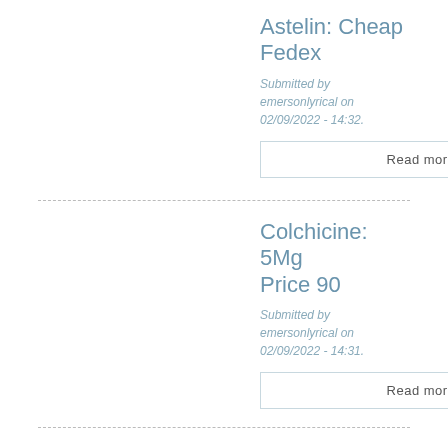Astelin: Cheap Fedex
Submitted by emersonlyrical on 02/09/2022 - 14:32.
Read more
Colchicine: 5Mg Price 90
Submitted by emersonlyrical on 02/09/2022 - 14:31.
Read more
Lotrel: Forum